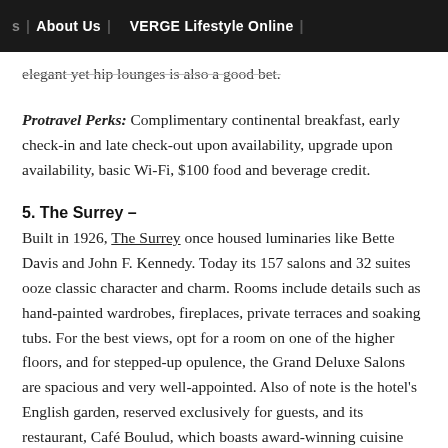s | About Us | VERGE Lifestyle Online |
elegant yet hip lounges is also a good bet.
Protravel Perks: Complimentary continental breakfast, early check-in and late check-out upon availability, upgrade upon availability, basic Wi-Fi, $100 food and beverage credit.
5. The Surrey –
Built in 1926, The Surrey once housed luminaries like Bette Davis and John F. Kennedy. Today its 157 salons and 32 suites ooze classic character and charm. Rooms include details such as hand-painted wardrobes, fireplaces, private terraces and soaking tubs. For the best views, opt for a room on one of the higher floors, and for stepped-up opulence, the Grand Deluxe Salons are spacious and very well-appointed. Also of note is the hotel's English garden, reserved exclusively for guests, and its restaurant, Café Boulud, which boasts award-winning cuisine and an 800…